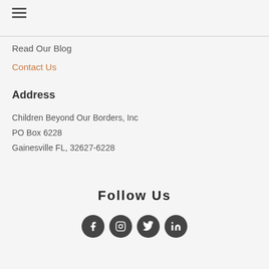[Figure (other): Hamburger menu icon with three horizontal lines]
Read Our Blog
Contact Us
Address
Children Beyond Our Borders, Inc
PO Box 6228
Gainesville  FL, 32627-6228
Follow Us
[Figure (other): Social media icons: Facebook, Instagram, Twitter, LinkedIn]